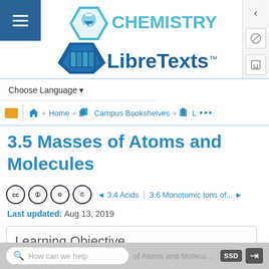[Figure (logo): Chemistry LibreTexts logo with hexagon icon, flask symbol, and stacked books icon]
Choose Language ▾
Home » Campus Bookshelves » L ...
3.5 Masses of Atoms and Molecules
◄ 3.4 Acids | 3.6 Monotomic Ions of... ►
Last updated: Aug 13, 2019
Learning Objective
How can we help  of Atoms and Molecules  SSD